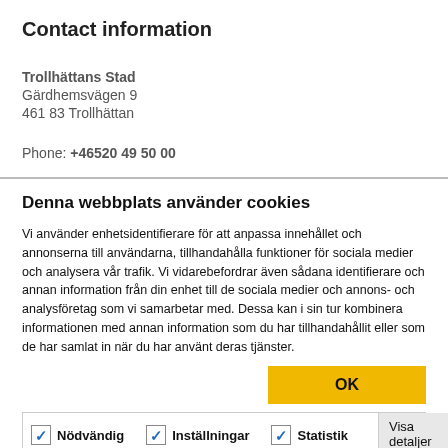Contact information
Trollhättans Stad
Gärdhemsvägen 9
461 83 Trollhättan
Phone: +46520 49 50 00
Denna webbplats använder cookies
Vi använder enhetsidentifierare för att anpassa innehållet och annonserna till användarna, tillhandahålla funktioner för sociala medier och analysera vår trafik. Vi vidarebefordrar även sådana identifierare och annan information från din enhet till de sociala medier och annons- och analysföretag som vi samarbetar med. Dessa kan i sin tur kombinera informationen med annan information som du har tillhandahållit eller som de har samlat in när du har använt deras tjänster.
[Figure (other): OK button (yellow background)]
| ✓ Nödvändig | ✓ Inställningar | ✓ Statistik | Visa detaljer ∨ |
| ✓ Marknadsföring |  |  |  |